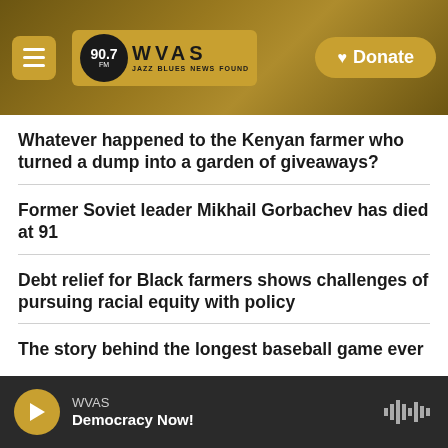[Figure (screenshot): WVAS 90.7 FM radio station navigation header with hamburger menu, logo, and Donate button on a golden/dark background]
Whatever happened to the Kenyan farmer who turned a dump into a garden of giveaways?
Former Soviet leader Mikhail Gorbachev has died at 91
Debt relief for Black farmers shows challenges of pursuing racial equity with policy
The story behind the longest baseball game ever
WVAS Democracy Now!